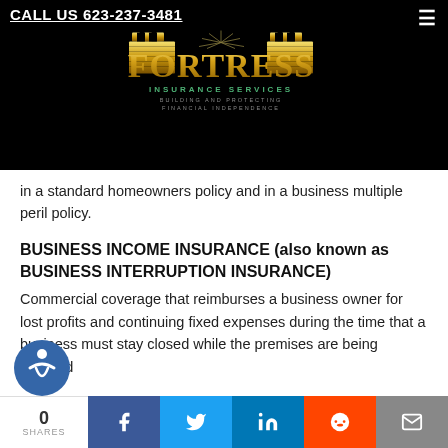CALL US 623-237-3481
[Figure (logo): Fortress Insurance Services logo with castle towers, gold text FORTRESS, green INSURANCE SERVICES text, and tagline BUILDING AND PROTECTING FINANCIAL INDEPENDENCE on black background]
in a standard homeowners policy and in a business multiple peril policy.
BUSINESS INCOME INSURANCE (also known as BUSINESS INTERRUPTION INSURANCE)
Commercial coverage that reimburses a business owner for lost profits and continuing fixed expenses during the time that a business must stay closed while the premises are being restored